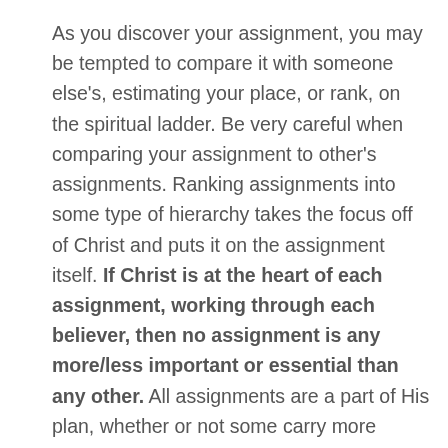As you discover your assignment, you may be tempted to compare it with someone else's, estimating your place, or rank, on the spiritual ladder. Be very careful when comparing your assignment to other's assignments. Ranking assignments into some type of hierarchy takes the focus off of Christ and puts it on the assignment itself. If Christ is at the heart of each assignment, working through each believer, then no assignment is any more/less important or essential than any other. All assignments are a part of His plan, whether or not some carry more responsibility or naturally seem to gain more respect or